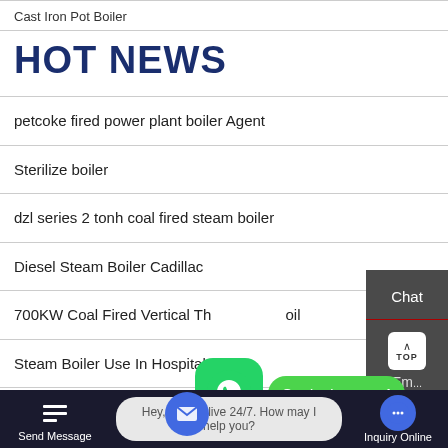Cast Iron Pot Boiler
HOT NEWS
petcoke fired power plant boiler Agent
Sterilize boiler
dzl series 2 tonh coal fired steam boiler
Diesel Steam Boiler Cadillac
700KW Coal Fired Vertical Thermal Oil Boiler
Steam Boiler Use In Hospital
Send Message   Hey, we are live 24/7. How may I help you?   Inquiry Online